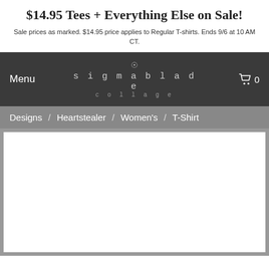$14.95 Tees + Everything Else on Sale!
Sale prices as marked. $14.95 price applies to Regular T-shirts. Ends 9/6 at 10 AM CT.
Menu | sigmablade collage | 0
Designs / Heartstealer / Women's / T-Shirt
[Figure (photo): Product image area showing a white background (image not loaded)]